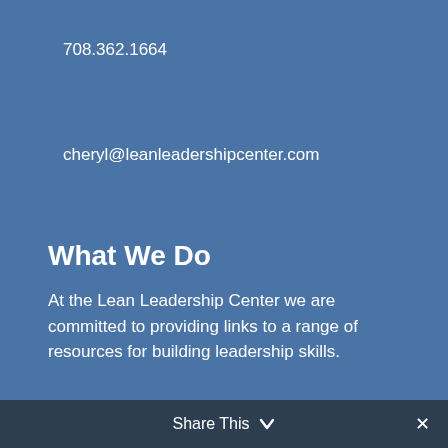708.362.1664
cheryl@leanleadershipcenter.com
What We Do
At the Lean Leadership Center we are committed to providing links to a range of resources for building leadership skills.
Connect
[Figure (infographic): YouTube and LinkedIn social media icon circles in orange/gold color on blue background]
Share This ∨  ✕